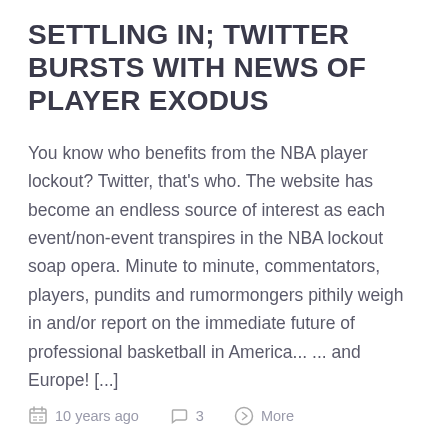SETTLING IN; TWITTER BURSTS WITH NEWS OF PLAYER EXODUS
You know who benefits from the NBA player lockout? Twitter, that's who. The website has become an endless source of interest as each event/non-event transpires in the NBA lockout soap opera. Minute to minute, commentators, players, pundits and rumormongers pithily weigh in and/or report on the immediate future of professional basketball in America... ... and Europe! [...]
10 years ago  3  More